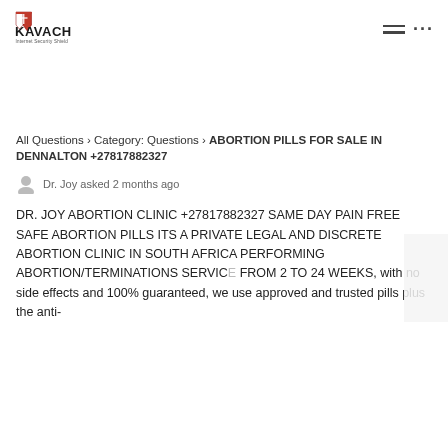KAVACH Internet Security Shield — navigation header
All Questions › Category: Questions › ABORTION PILLS FOR SALE IN DENNALTON +27817882327
Dr. Joy asked 2 months ago
DR. JOY ABORTION CLINIC +27817882327 SAME DAY PAIN FREE SAFE ABORTION PILLS ITS A PRIVATE LEGAL AND DISCRETE ABORTION CLINIC IN SOUTH AFRICA PERFORMING ABORTION/TERMINATIONS SERVICES FROM 2 TO 24 WEEKS, with no side effects and 100% guaranteed, we use approved and trusted pills plus the anti-